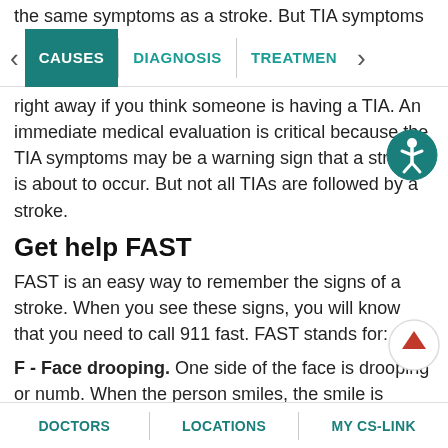the same symptoms as a stroke. But TIA symptoms
CAUSES | DIAGNOSIS | TREATMENT
right away if you think someone is having a TIA. An immediate medical evaluation is critical because the TIA symptoms may be a warning sign that a stroke is about to occur. But not all TIAs are followed by a stroke.
Get help FAST
FAST is an easy way to remember the signs of a stroke. When you see these signs, you will know that you need to call 911 fast. FAST stands for:
F - Face drooping. One side of the face is drooping or numb. When the person smiles, the smile is uneven.
DOCTORS | LOCATIONS | MY CS-LINK